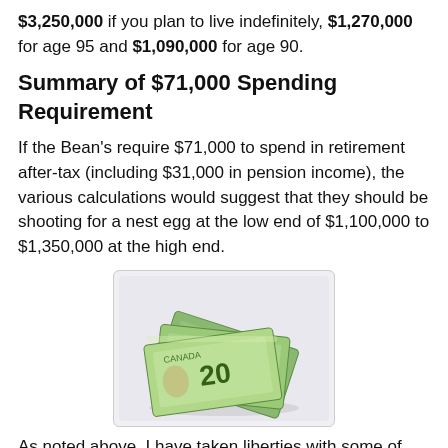$3,250,000 if you plan to live indefinitely, $1,270,000 for age 95 and $1,090,000 for age 90.
Summary of $71,000 Spending Requirement
If the Bean's require $71,000 to spend in retirement after-tax (including $31,000 in pension income), the various calculations would suggest that they should be shooting for a nest egg at the low end of $1,100,000 to $1,350,000 at the high end.
[Figure (photo): A fan of Canadian $20 banknotes spread out on a white background.]
As noted above, I have taken liberties with some of the calculations and the variables would change for your specific assumptions and facts. Like I say in my title, who the heck really knows what you need to retire; all these numbers may